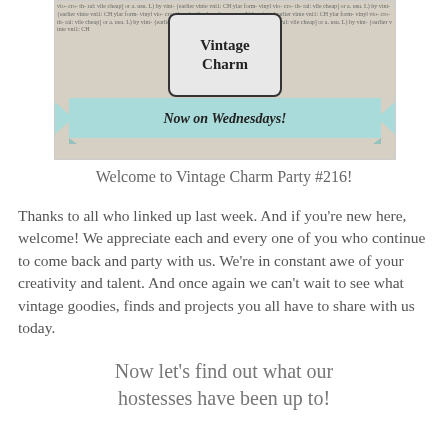[Figure (illustration): Vintage Charm logo banner with newspaper print background, a decorative label reading 'Vintage Charm', and a teal ribbon banner below reading 'Now on Wednesdays!']
Welcome to Vintage Charm Party #216!
Thanks to all who linked up last week. And if you're new here, welcome! We appreciate each and every one of you who continue to come back and party with us. We're in constant awe of your creativity and talent. And once again we can't wait to see what vintage goodies, finds and projects you all have to share with us today.
Now let's find out what our hostesses have been up to!